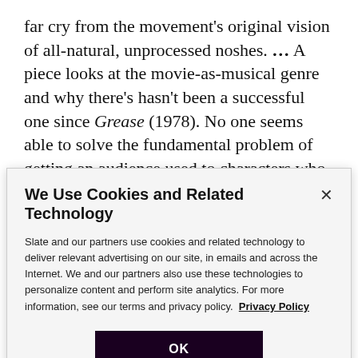far cry from the movement's original vision of all-natural, unprocessed noshes. … A piece looks at the movie-as-musical genre and why there's hasn't been a successful one since Grease (1978). No one seems able to solve the fundamental problem of getting an audience used to characters who belt out their thoughts and feelings in song. Director Baz Luhrmann attempts to resolve the dilemma in the upcoming Moulin Rouge by heaping on tons of music, color, dance. The result?
We Use Cookies and Related Technology
Slate and our partners use cookies and related technology to deliver relevant advertising on our site, in emails and across the Internet. We and our partners also use these technologies to personalize content and perform site analytics. For more information, see our terms and privacy policy. Privacy Policy
OK